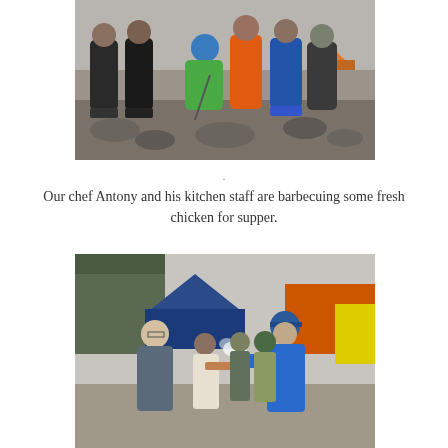[Figure (photo): Group of people standing on rocky terrain at a mountain base camp, wearing colorful outdoor gear and puffer jackets. One person in the center is crouching wearing a blue helmet and green jacket.]
. Our chef Antony and his kitchen staff are barbecuing some fresh chicken for supper.
[Figure (photo): People cooking and barbecuing at a mountain camp. A man in a blue cap and jacket is serving food, with colorful tents visible in the background.]